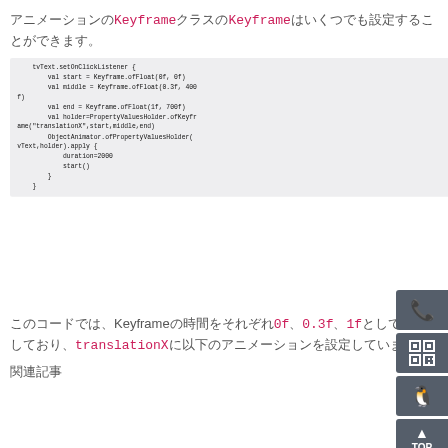アニメーションのKeyframeクラスのKeyframeはいくつでも設定することができます。
[Figure (screenshot): Code block showing Kotlin animation code using Keyframe.ofFloat and ObjectAnimator.ofPropertyValuesHolder with translationX]
このコードでは、Keyframeの時間をそれぞれ0f、0.3f、1fとして設定しており、translationXに以下のアニメーションを設定しています。
関連記事